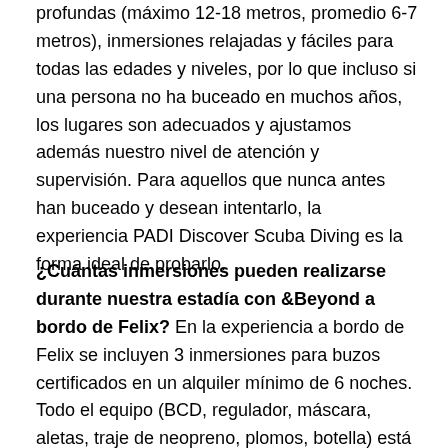profundas (máximo 12-18 metros, promedio 6-7 metros), inmersiones relajadas y fáciles para todas las edades y niveles, por lo que incluso si una persona no ha buceado en muchos años, los lugares son adecuados y ajustamos además nuestro nivel de atención y supervisión. Para aquellos que nunca antes han buceado y desean intentarlo, la experiencia PADI Discover Scuba Diving es la forma ideal de probarlo.
¿Cuántas inmersiones pueden realizarse durante nuestra estadía con &Beyond a bordo de Felix? En la experiencia a bordo de Felix se incluyen 3 inmersiones para buzos certificados en un alquiler mínimo de 6 noches. Todo el equipo (BCD, regulador, máscara, aletas, traje de neopreno, plomos, botella) está incluido y estas inmersiones son guiadas por Heiko. Se pueden agregar inmersiones adicionales por un costo adicional, sujeto al itinerario planeado, a otras actividades que ha solicitado el grupo y a